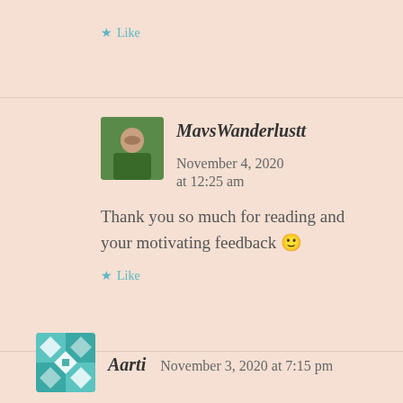★ Like
MavsWanderlustt   November 4, 2020 at 12:25 am
Thank you so much for reading and your motivating feedback 🙂
★ Like
Aarti   November 3, 2020 at 7:15 pm
Awesome! It seems Bhutan is calling me too!!!